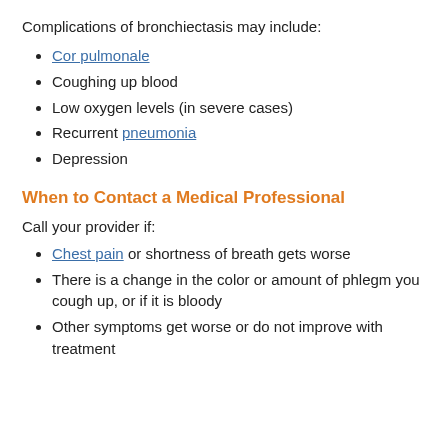Complications of bronchiectasis may include:
Cor pulmonale
Coughing up blood
Low oxygen levels (in severe cases)
Recurrent pneumonia
Depression
When to Contact a Medical Professional
Call your provider if:
Chest pain or shortness of breath gets worse
There is a change in the color or amount of phlegm you cough up, or if it is bloody
Other symptoms get worse or do not improve with treatment